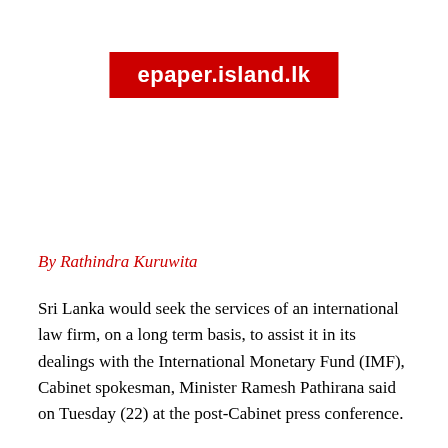epaper.island.lk
By Rathindra Kuruwita
Sri Lanka would seek the services of an international law firm, on a long term basis, to assist it in its dealings with the International Monetary Fund (IMF), Cabinet spokesman, Minister Ramesh Pathirana said on Tuesday (22) at the post-Cabinet press conference.